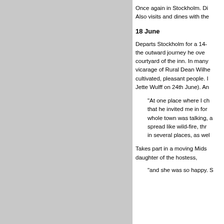Once again in Stockholm. Di... Also visits and dines with the...
18 June
Departs Stockholm for a 14- the outward journey he over courtyard of the inn. In many vicarage of Rural Dean Wilhe cultivated, pleasant people. Jette Wulff on 24th June). And
"At one place where I ch that he invited me in for whole town was talking, a spread like wild-fire, thr in several places, as well
Takes part in a moving Mids daughter of the hostess,
"and she was so happy. S